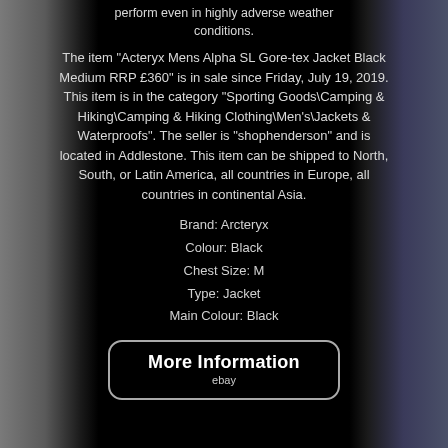perform even in highly adverse weather conditions.
The item "Acteryx Mens Alpha SL Gore-tex Jacket Black Medium RRP £360" is in sale since Friday, July 19, 2019. This item is in the category "Sporting Goods\Camping & Hiking\Camping & Hiking Clothing\Men's\Jackets & Waterproofs". The seller is "shophenderson" and is located in Addlestone. This item can be shipped to North, South, or Latin America, all countries in Europe, all countries in continental Asia.
Brand: Arcteryx
Colour: Black
Chest Size: M
Type: Jacket
Main Colour: Black
More Information
ebay